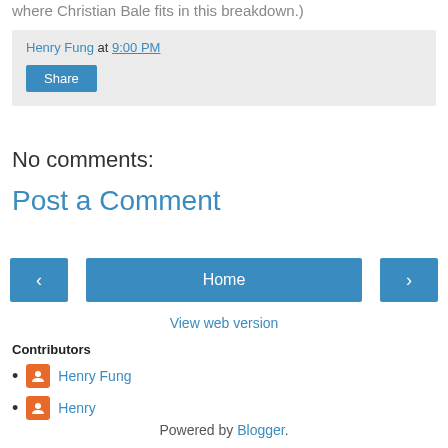where Christian Bale fits in this breakdown.)
Henry Fung at 9:00 PM
Share
No comments:
Post a Comment
‹
Home
›
View web version
Contributors
Henry Fung
Henry
Powered by Blogger.